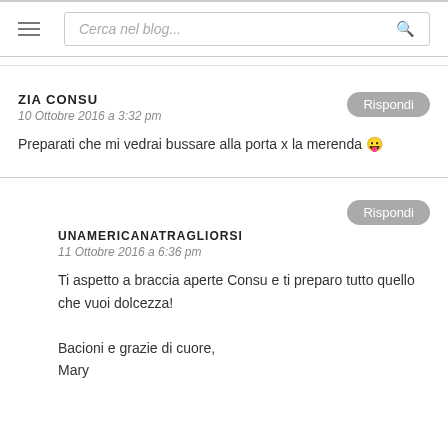Cerca nel blog...
ZIA CONSU
10 Ottobre 2016 a 3:32 pm
Preparati che mi vedrai bussare alla porta x la merenda 😛
UNAMERICANATRAGLIORSI
11 Ottobre 2016 a 6:36 pm
Ti aspetto a braccia aperte Consu e ti preparo tutto quello che vuoi dolcezza!
Bacioni e grazie di cuore,
Mary